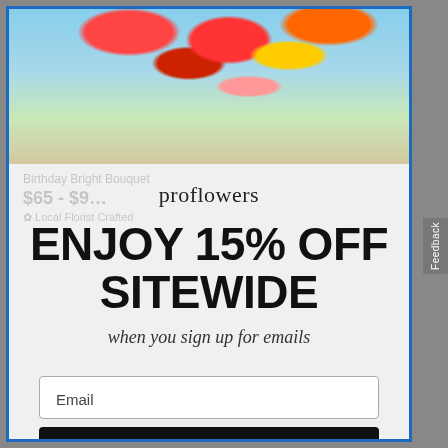[Figure (photo): Floral bouquet photo showing red, pink, and yellow flowers with green foliage against a blue sky background]
Birthday Bright Bouquet
$65 - $9...
Local Florist Crafted
proflowers
ENJOY 15% OFF SITEWIDE
when you sign up for emails
Email
Feedback